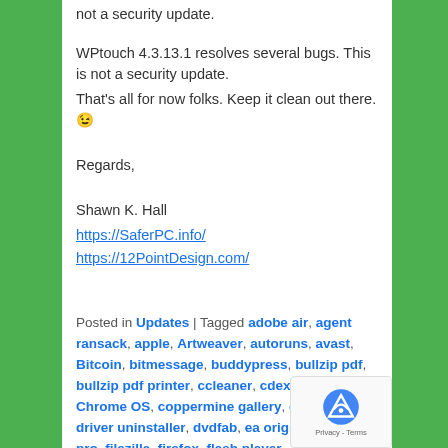not a security update.
WPtouch 4.3.13.1 resolves several bugs. This is not a security update.
That's all for now folks. Keep it clean out there. 😉
Regards,
Shawn K. Hall
https://SaferPC.info/
https://12PointDesign.com/
Posted in Updates | Tagged adobe air, agent ransack, apple, Artweaver, autoruns, avast, Bitcoin, bitmessage, buddypress, bullzip pdf, bullzip pdf printer, ccleaner, cdex, chrome, Chrome OS, coppermine gallery, curl, display driver uninstaller, dvdfab, ea origin, filelocator pro, filezilla, firefox, flash player, folderchangesview, goodsync, internet explorer, kindle for pc, logic pro, MKVToolNix, mpc, msrt, multisite enhancements, NextScripts Social Networks Auto-Poster, ntlite, openssl